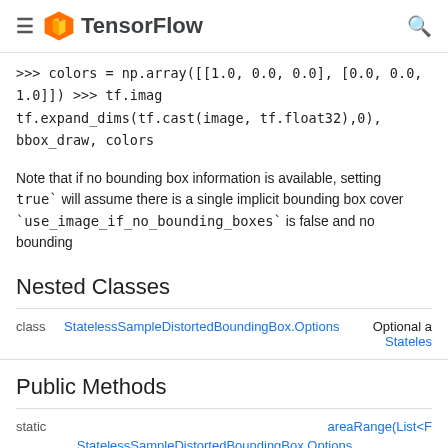TensorFlow
>>> colors = np.array([[1.0, 0.0, 0.0], [0.0, 0.0, 1.0]]) >>> tf.imag tf.expand_dims(tf.cast(image, tf.float32),0), bbox_draw, colors
Note that if no bounding box information is available, setting true` will assume there is a single implicit bounding box cover `use_image_if_no_bounding_boxes` is false and no bounding
Nested Classes
|  | Class | Description |
| --- | --- | --- |
| class | StatelessSampleDistortedBoundingBox.Options | Optional a Stateles |
Public Methods
|  | Method |
| --- | --- |
| static | areaRange(List<F
StatelessSampleDistortedBoundingBox.Options |